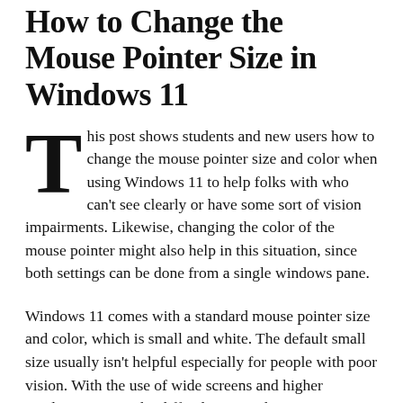How to Change the Mouse Pointer Size in Windows 11
This post shows students and new users how to change the mouse pointer size and color when using Windows 11 to help folks with who can't see clearly or have some sort of vision impairments. Likewise, changing the color of the mouse pointer might also help in this situation, since both settings can be done from a single windows pane.
Windows 11 comes with a standard mouse pointer size and color, which is small and white. The default small size usually isn't helpful especially for people with poor vision. With the use of wide screens and higher resolutions, it can be difficult to spot the mouse pointer across bigger areas of the screen, or even double screens. The good this is, Windows allows you to change the size of the mouse